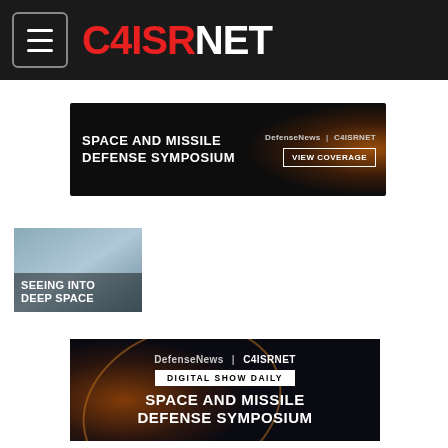C4ISRNET
[Figure (screenshot): Space and Missile Defense Symposium banner ad with DefenseNews | C4ISRNET branding and VIEW COVERAGE button]
[Figure (photo): Thumbnail image with text SEEING INTO DEEP SPACE]
[Figure (screenshot): Large Space and Missile Defense Symposium Digital Show Daily banner ad with DefenseNews | C4ISRNET branding]